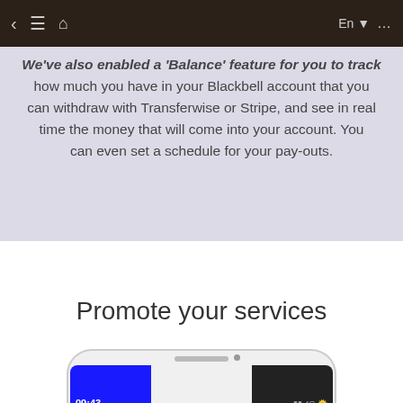[Figure (screenshot): Browser navigation bar with back arrow, hamburger menu, home icon on the left, and 'En' language selector with dropdown arrow and ellipsis menu on the right, dark brown background.]
We've also enabled a 'Balance' feature for you to track how much you have in your Blackbell account that you can withdraw with Transferwise or Stripe, and see in real time the money that will come into your account. You can even set a schedule for your pay-outs.
Promote your services
[Figure (screenshot): Bottom portion of a smartphone showing time 09:43 on the left side of the screen and signal/4G indicators on the right side, with rounded top corners visible.]